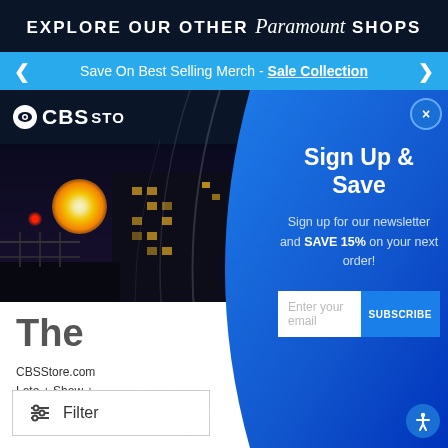EXPLORE OUR OTHER Paramount SHOPS
Save On Best Selling Merch - Sale Collection
[Figure (screenshot): CBS Store logo on dark background with night city scene below]
The
CBSStore.com
Late + Show +
Filter
Sign Up & Save
Sign up for our newsletter and SAVE 15% on your next order!
Enter your email
SUBSCRIBE